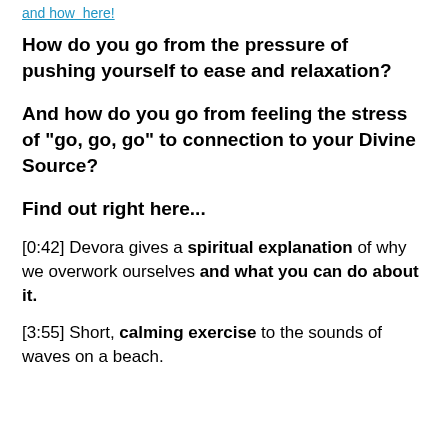and how  here!
How do you go from the pressure of pushing yourself to ease and relaxation?
And how do you go from feeling the stress of "go, go, go" to connection to your Divine Source?
Find out right here...
[0:42] Devora gives a spiritual explanation of why we overwork ourselves and what you can do about it.
[3:55] Short, calming exercise to the sounds of waves on a beach.